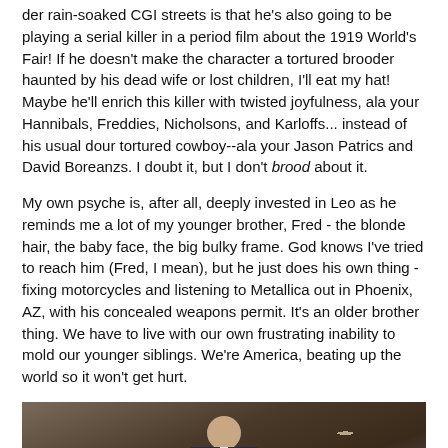der rain-soaked CGI streets is that he's also going to be playing a serial killer in a period film about the 1919 World's Fair! If he doesn't make the character a tortured brooder haunted by his dead wife or lost children, I'll eat my hat! Maybe he'll enrich this killer with twisted joyfulness, ala your Hannibals, Freddies, Nicholsons, and Karloffs... instead of his usual dour tortured cowboy--ala your Jason Patrics and David Boreanzs. I doubt it, but I don't brood about it.
My own psyche is, after all, deeply invested in Leo as he reminds me a lot of my younger brother, Fred - the blonde hair, the baby face, the big bulky frame. God knows I've tried to reach him (Fred, I mean), but he just does his own thing - fixing motorcycles and listening to Metallica out in Phoenix, AZ, with his concealed weapons permit. It's an older brother thing. We have to live with our own frustrating inability to mold our younger siblings. We're America, beating up the world so it won't get hurt.
[Figure (photo): A man in a dark suit with a white collar/shirt, looking downward, photographed against a stone wall background. The image is cropped to show the upper body and face.]